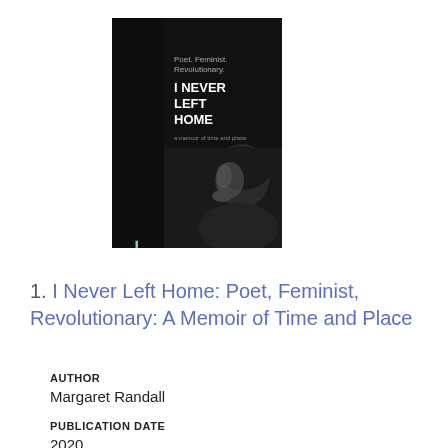[Figure (illustration): Book cover of 'I Never Left Home' by Margaret Randall. Dark/black background with vertical text 'MARGARET RANDALL' in large teal/mint letters on the left spine, and 'I NEVER LEFT HOME' in white text on the right side, with a black-and-white photo of a woman in profile (chin resting on hand) occupying the lower portion of the cover.]
1. I Never Left Home: Poet, Feminist, Revolutionary: A Memoir of Time and Place
AUTHOR
Margaret Randall
PUBLICATION DATE
2020